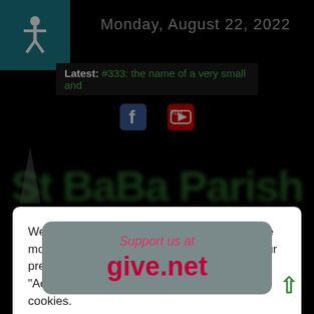[Figure (screenshot): Dark website background with accessibility icon, date, latest article bar, social icons, and partially visible church text]
Monday, August 22, 2022
Latest: #333: the name of a very small and
We use cookies on our website to give you the most relevant experience by remembering your preferences and repeat visits. By clicking “Accept”, you consent to the use of ALL the cookies.
Cookie settings
ACCEPT ALL
[Figure (infographic): Support us at give.net donation banner with grey rounded rectangle background]